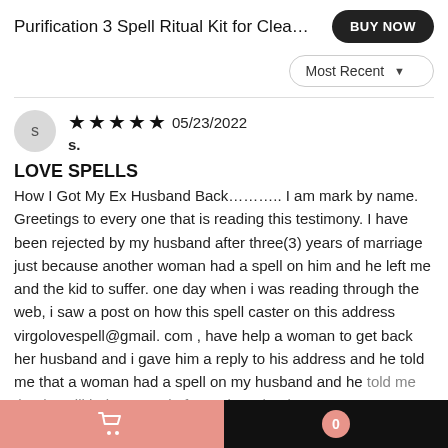Purification 3 Spell Ritual Kit for Clea…
Most Recent
★★★★★ 05/23/2022
s.
LOVE SPELLS
How I Got My Ex Husband Back……….. I am mark by name. Greetings to every one that is reading this testimony. I have been rejected by my husband after three(3) years of marriage just because another woman had a spell on him and he left me and the kid to suffer. one day when i was reading through the web, i saw a post on how this spell caster on this address virgolovespell@gmail. com , have help a woman to get back her husband and i gave him a reply to his address and he told me that a woman had a spell on my husband and he told me that he will help me and after 3 days that i